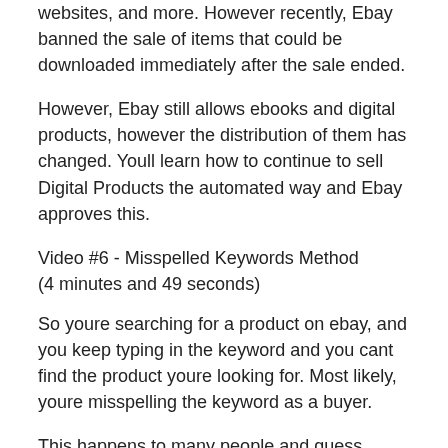websites, and more. However recently, Ebay banned the sale of items that could be downloaded immediately after the sale ended.
However, Ebay still allows ebooks and digital products, however the distribution of them has changed. Youll learn how to continue to sell Digital Products the automated way and Ebay approves this.
Video #6 - Misspelled Keywords Method
(4 minutes and 49 seconds)
So youre searching for a product on ebay, and you keep typing in the keyword and you cant find the product youre looking for. Most likely, youre misspelling the keyword as a buyer.
This happens to many people and guess what, you